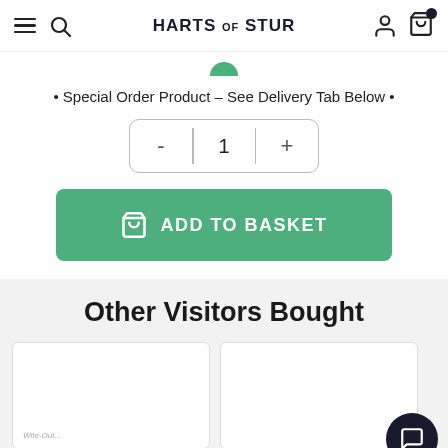HARTS OF STUR
• Special Order Product – See Delivery Tab Below •
Quantity selector: - 1 +
ADD TO BASKET
Other Visitors Bought
[Figure (screenshot): Two product card thumbnails partially visible at the bottom of the page]